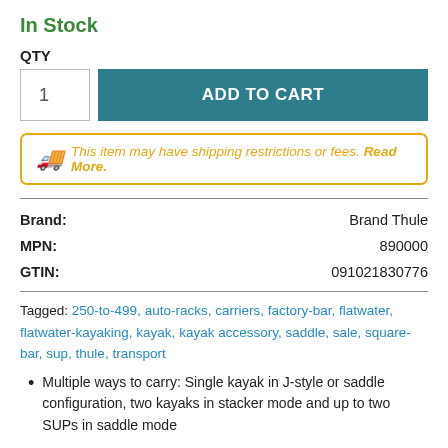In Stock
QTY
ADD TO CART
This item may have shipping restrictions or fees. Read More.
|  |  |
| --- | --- |
| Brand: | Brand Thule |
| MPN: | 890000 |
| GTIN: | 091021830776 |
Tagged: 250-to-499, auto-racks, carriers, factory-bar, flatwater, flatwater-kayaking, kayak, kayak accessory, saddle, sale, square-bar, sup, thule, transport
Multiple ways to carry: Single kayak in J-style or saddle configuration, two kayaks in stacker mode and up to two SUPs in saddle mode